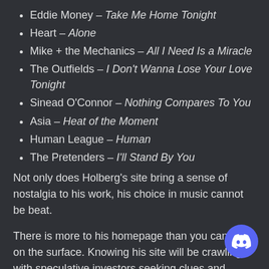Eddie Money – Take Me Home Tonight
Heart – Alone
Mike + the Mechanics – All I Need Is a Miracle
The Outfields – I Don't Wanna Lose Your Love Tonight
Sinead O'Connor – Nothing Compares To You
Asia – Heat of the Moment
Human League – Human
The Pretenders – I'll Stand By You
Not only does Holberg's site bring a sense of nostalgia to his work, his choice in music cannot be beat.
There is more to his homepage than you can see on the surface. Knowing his site will be crawling with speculative investors seeking clues and puzzle pieces, a quick search of the website's code shows his humorous personality.